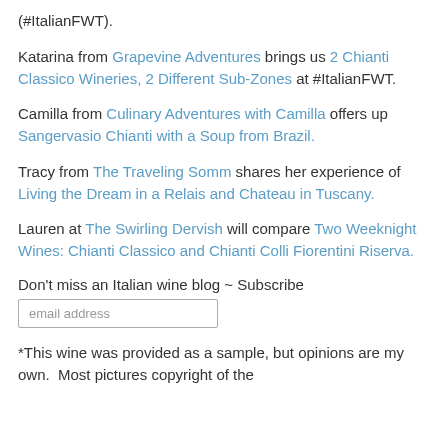(#ItalianFWT).
Katarina from Grapevine Adventures brings us 2 Chianti Classico Wineries, 2 Different Sub-Zones at #ItalianFWT.
Camilla from Culinary Adventures with Camilla offers up Sangervasio Chianti with a Soup from Brazil.
Tracy from The Traveling Somm shares her experience of Living the Dream in a Relais and Chateau in Tuscany.
Lauren at The Swirling Dervish will compare Two Weeknight Wines: Chianti Classico and Chianti Colli Fiorentini Riserva.
Don't miss an Italian wine blog ~ Subscribe
email address
*This wine was provided as a sample, but opinions are my own.  Most pictures copyright of the